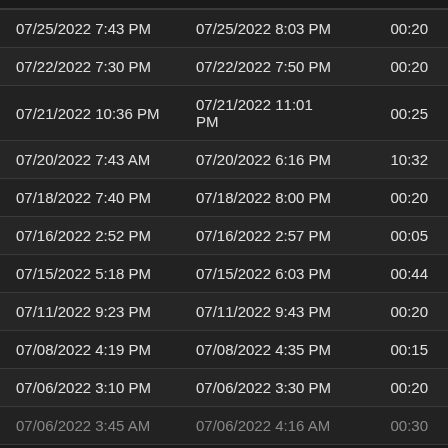| 07/25/2022 7:43 PM | 07/25/2022 8:03 PM | 00:20 |
| 07/22/2022 7:30 PM | 07/22/2022 7:50 PM | 00:20 |
| 07/21/2022 10:36 PM | 07/21/2022 11:01 PM | 00:25 |
| 07/20/2022 7:43 AM | 07/20/2022 6:16 PM | 10:32 |
| 07/18/2022 7:40 PM | 07/18/2022 8:00 PM | 00:20 |
| 07/16/2022 2:52 PM | 07/16/2022 2:57 PM | 00:05 |
| 07/15/2022 5:18 PM | 07/15/2022 6:03 PM | 00:44 |
| 07/11/2022 9:23 PM | 07/11/2022 9:43 PM | 00:20 |
| 07/08/2022 4:19 PM | 07/08/2022 4:35 PM | 00:15 |
| 07/06/2022 3:10 PM | 07/06/2022 3:30 PM | 00:20 |
| 07/06/2022 3:45 AM | 07/06/2022 4:16 AM | 00:30 |